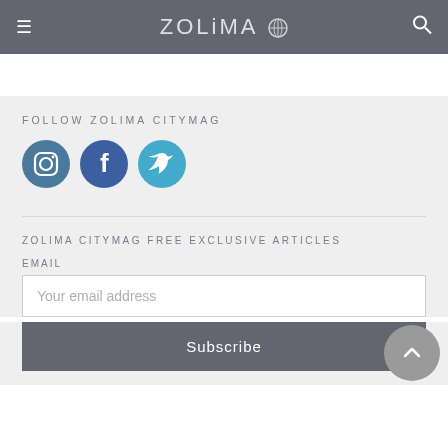ZOLiMA (logo with icon)
FOLLOW ZOLIMA CITYMAG
[Figure (infographic): Three social media icons: Instagram (dark blue), Facebook (dark blue), Twitter (light blue), each in a circle]
ZOLIMA CITYMAG FREE EXCLUSIVE ARTICLES
EMAIL
Your email address
Subscribe